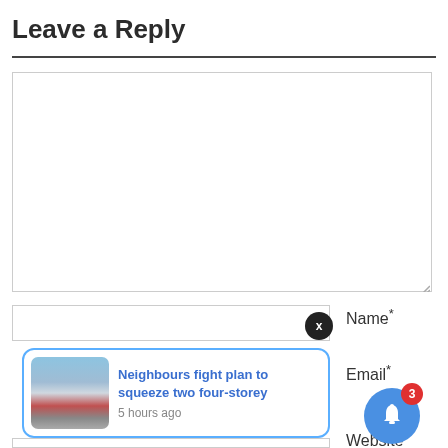Leave a Reply
[Figure (screenshot): Large empty textarea comment input box with resize handle]
Name *
[Figure (screenshot): Notification popup with image of buildings and text 'Neighbours fight plan to squeeze two four-storey' and timestamp '5 hours ago', with X close button]
Email *
[Figure (infographic): Blue bell notification button with red badge showing count 3]
Website